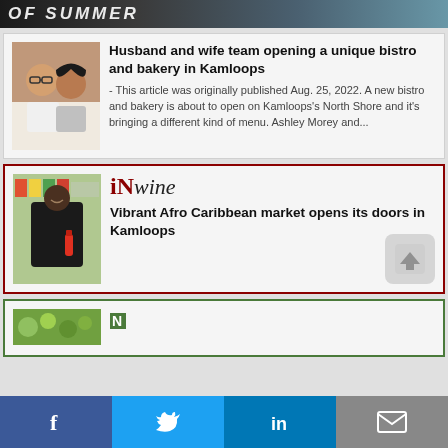[Figure (photo): Top banner with partial text 'OF SUMMER' on a dark/blue gradient background]
[Figure (photo): Couple selfie photo - husband and wife smiling]
Husband and wife team opening a unique bistro and bakery in Kamloops
- This article was originally published Aug. 25, 2022. A new bistro and bakery is about to open on Kamloops's North Shore and it's bringing a different kind of menu. Ashley Morey and...
[Figure (photo): Man in black shirt holding a red bottle in a Caribbean market store]
[Figure (logo): iN wine logo - bold red iN with italic wine text]
Vibrant Afro Caribbean market opens its doors in Kamloops
[Figure (photo): Green leafy vegetables/produce photo - partially visible at bottom]
[Figure (logo): iN logo partially visible - green square with N]
[Figure (infographic): Social sharing bar with Facebook, Twitter, LinkedIn, and email icons]